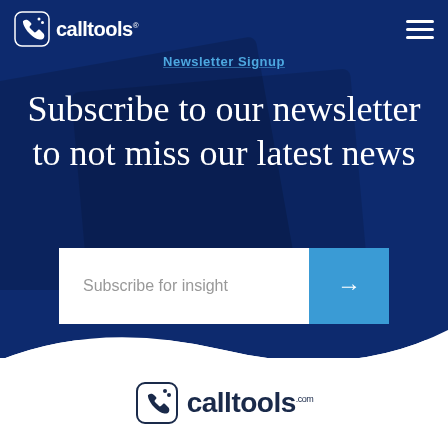[Figure (logo): CallTools logo with phone handset icon in rounded square, white text on dark blue background]
[Figure (other): Hamburger menu icon (three white horizontal lines) in top right corner]
Newsletter Signup
Subscribe to our newsletter to not miss our latest news
[Figure (other): Email subscription input bar with placeholder text 'Subscribe for insight' and blue arrow submit button]
[Figure (logo): CallTools logo in dark navy color on white background at bottom of page]